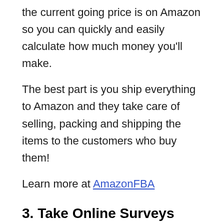the current going price is on Amazon so you can quickly and easily calculate how much money you'll make.
The best part is you ship everything to Amazon and they take care of selling, packing and shipping the items to the customers who buy them!
Learn more at AmazonFBA
3. Take Online Surveys and get paid!
Survey Junkie is the #1 survey site in the